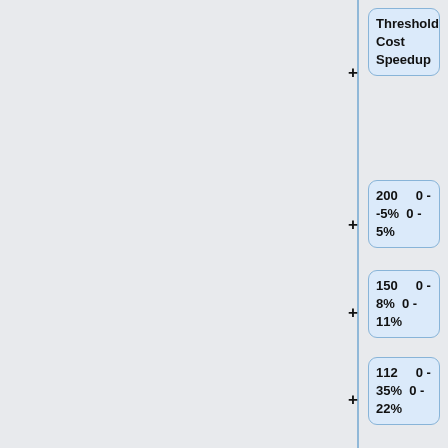[Figure (flowchart): Flowchart with vertical tree structure showing threshold, cost, and speedup values in blue rounded boxes connected by plus signs along a vertical blue line. Boxes show: Threshold/Cost/Speedup header; 200 0--5% 0-5%; 150 0-8% 0-11%; 112 0-35% 0-22%; text about 4-step patch URL; and an empty box at bottom.]
Threshold Cost Speedup
200     0 -5%   0 - 5%
150     0 -8%   0 - 11%
112     0 -35%   0 - 22%
The 4-step patch can be found [http://jdegges.googlepages.com/x264-mref-4step.patch.txt here].